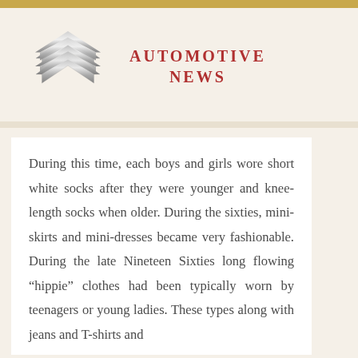[Figure (logo): Citroën double chevron logo in silver/grey metallic, with 'AUTOMOTIVE NEWS' text in red to the right]
During this time, each boys and girls wore short white socks after they were younger and knee-length socks when older. During the sixties, mini-skirts and mini-dresses became very fashionable. During the late Nineteen Sixties long flowing “hippie” clothes had been typically worn by teenagers or young ladies. These types along with jeans and T-shirts and